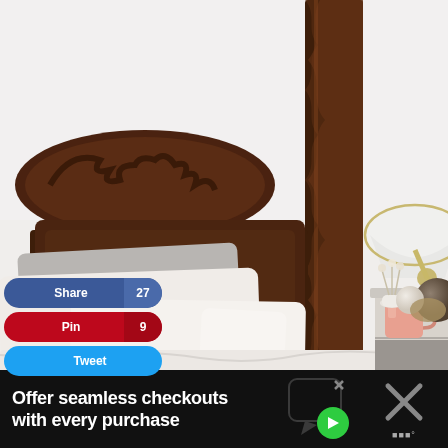[Figure (photo): Bedroom scene with ornate dark wood four-poster bed headboard and carved post, white and gray pillows, white linen bedding, a white articulating desk lamp with gold hardware on a light-colored nightstand, a pink mug, a small white ceramic vase with dried flowers, and decorative spherical objects. Light gray/white painted wall in background.]
[Figure (infographic): Social sharing buttons: blue Facebook Share button with count 27, red Pinterest Pin button with count 9, and blue Twitter Tweet button]
[Figure (infographic): Advertisement banner: black background with white bold text 'Offer seamless checkouts with every purchase', green chat bubble icon with play button and checkmark, and an X close button]